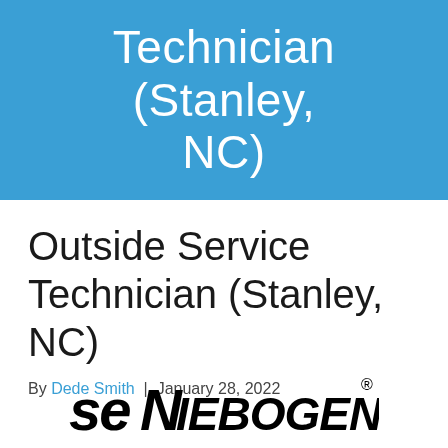Technician (Stanley, NC)
Outside Service Technician (Stanley, NC)
By Dede Smith | January 28, 2022
[Figure (logo): seNIEBOGEN company logo in black bold stylized text with registered trademark symbol]